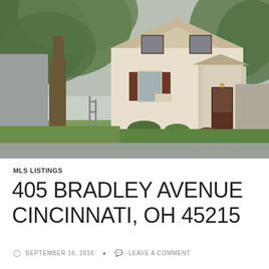[Figure (photo): Exterior photo of a two-story house with white/cream siding, brown shutters, covered front porch, and large tree in foreground. Taken in summer/fall with green trees visible.]
MLS LISTINGS
405 BRADLEY AVENUE CINCINNATI, OH 45215
SEPTEMBER 16, 2016   LEAVE A COMMENT